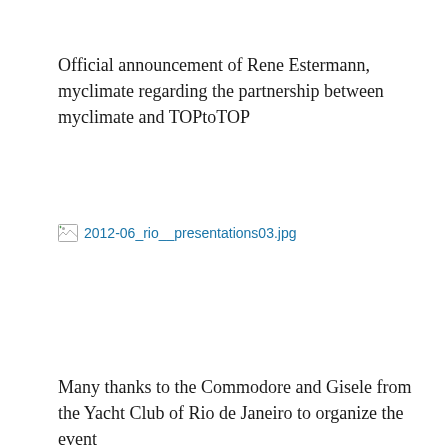Official announcement of Rene Estermann, myclimate regarding the partnership between myclimate and TOPtoTOP
[Figure (photo): Broken image placeholder with filename: 2012-06_rio__presentations03.jpg]
Many thanks to the Commodore and Gisele from the Yacht Club of Rio de Janeiro to organize the event